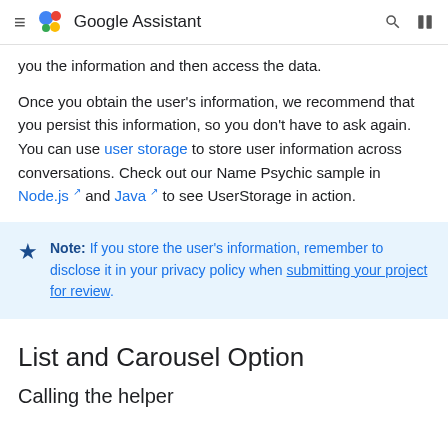Google Assistant
you the information and then access the data.
Once you obtain the user's information, we recommend that you persist this information, so you don't have to ask again. You can use user storage to store user information across conversations. Check out our Name Psychic sample in Node.js and Java to see UserStorage in action.
Note: If you store the user's information, remember to disclose it in your privacy policy when submitting your project for review.
List and Carousel Option
Calling the helper